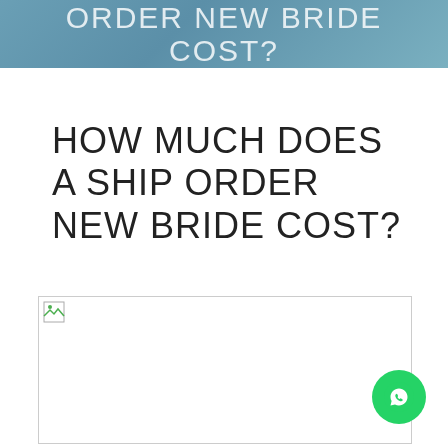ORDER NEW BRIDE COST?
HOW MUCH DOES A SHIP ORDER NEW BRIDE COST?
[Figure (photo): Broken image placeholder (image failed to load) for article about mail order bride costs]